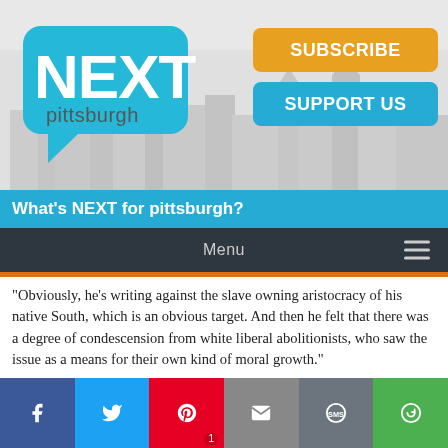[Figure (logo): Next Pittsburgh logo — speech bubble in cyan/teal with white bold text NEXT and 'pittsburgh' in gray below]
[Figure (illustration): City skyline silhouette in light gray in the header background]
[Figure (infographic): Orange rounded-rectangle SUBSCRIBE button and cyan/teal SUPPORT US button in the header]
What's NEXT for pittsburgh?
Menu
"Obviously, he's writing against the slave owning aristocracy of his native South, which is an obvious target. And then he felt that there was a degree of condescension from white liberal abolitionists, who saw the issue as a means for their own kind of moral growth."
Delany became the first African-American field-grade officer in the U.S. Army during the Civil War. But aside from a historical marker near PPG Place Downtown, he is barely remembered in Pittsburgh today.
[Figure (infographic): Social sharing bar at the bottom with Facebook, Twitter, Pinterest (with badge 1), Email, SMS, and More (circular arrow) icons on colored backgrounds]